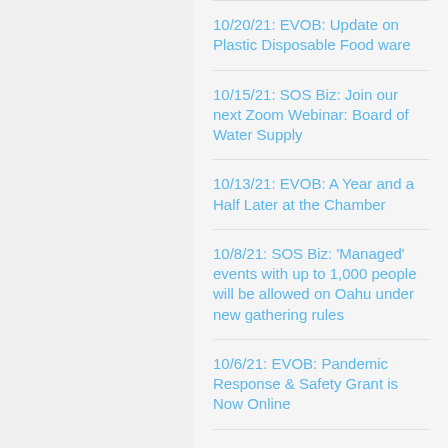10/20/21: EVOB: Update on Plastic Disposable Food ware
10/15/21: SOS Biz: Join our next Zoom Webinar: Board of Water Supply
10/13/21: EVOB: A Year and a Half Later at the Chamber
10/8/21: SOS Biz: 'Managed' events with up to 1,000 people will be allowed on Oahu under new gathering rules
10/6/21: EVOB: Pandemic Response & Safety Grant is Now Online
10/1/21: SOS Biz: Event Recap: 171st Annual Membership Luncheon